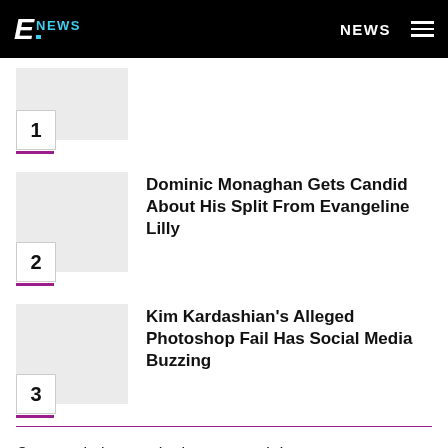E NEWS — NEWS
1
Dominic Monaghan Gets Candid About His Split From Evangeline Lilly — 2
Kim Kardashian's Alleged Photoshop Fail Has Social Media Buzzing — 3
Congratulations to the happy couple!